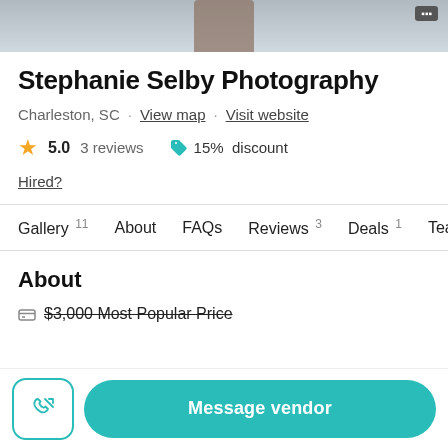[Figure (photo): Top photo strip showing a blurred outdoor scene with a small dark object in the center, and a gray badge in the top right corner]
Stephanie Selby Photography
Charleston, SC · View map · Visit website
★ 5.0  3 reviews   🏷 15%  discount
Hired?
Gallery 11   About   FAQs   Reviews 3   Deals 1   Tea
About
$3,000 Most Popular Price
Message vendor